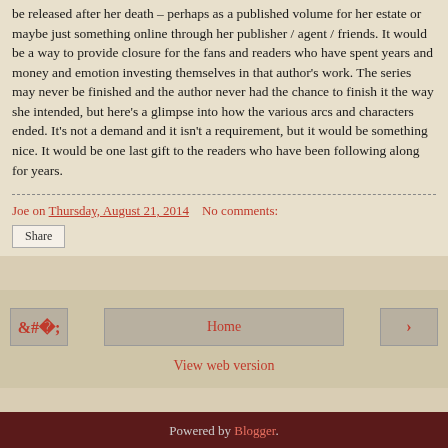be released after her death – perhaps as a published volume for her estate or maybe just something online through her publisher / agent / friends. It would be a way to provide closure for the fans and readers who have spent years and money and emotion investing themselves in that author's work. The series may never be finished and the author never had the chance to finish it the way she intended, but here's a glimpse into how the various arcs and characters ended. It's not a demand and it isn't a requirement, but it would be something nice. It would be one last gift to the readers who have been following along for years.
Joe on Thursday, August 21, 2014   No comments:
Share
‹   Home   ›
View web version
Powered by Blogger.